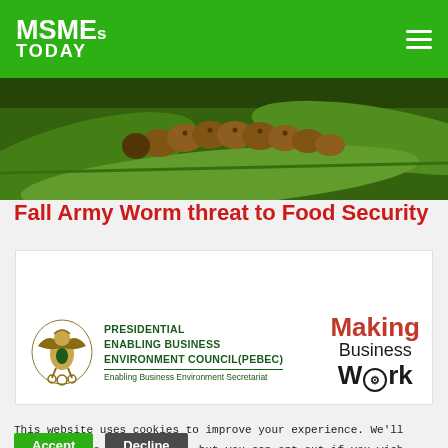MSMEs TODAY
[Figure (photo): Close-up photo of a Fall Army Worm caterpillar on green plant leaves]
Fall Army Worm threat to Food Security
[Figure (logo): Presidential Enabling Business Environment Council (PEBEC) advertisement banner with Making Business Work tagline]
This website uses cookies to improve your experience. We'll assume you're ok with this, but you can opt-out if you wish. Read More
Accept
Decline